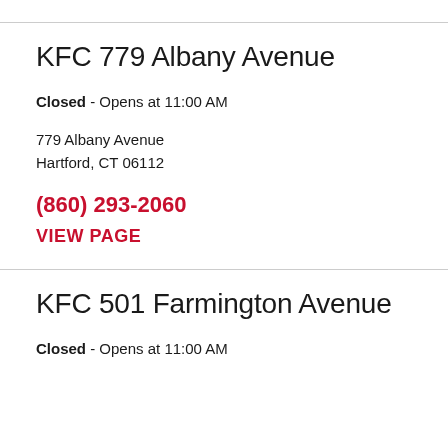KFC 779 Albany Avenue
Closed - Opens at 11:00 AM
779 Albany Avenue
Hartford, CT 06112
(860) 293-2060
VIEW PAGE
KFC 501 Farmington Avenue
Closed - Opens at 11:00 AM